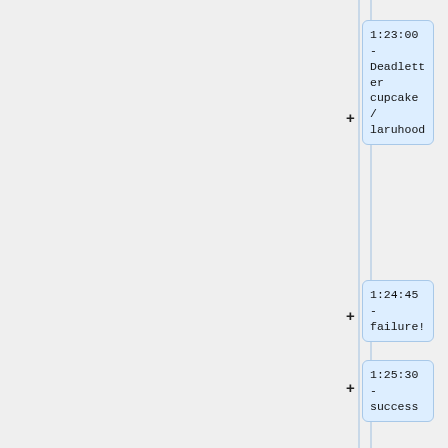1:23:00 - Deadletter cupcake / laruhood
1:24:45 - failure!
1:25:30 - success
1:26:45 - ifny
1:27:45 - "happy mbw"
1:30:00 - mbw faces @ Free Geek
1:31:00 - wired Finish